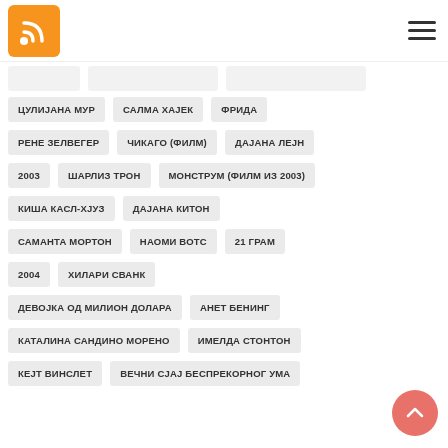[Figure (logo): RSS feed orange logo icon]
ЦУЛИЈАНА МУР
САЛМА ХАЈЕК
ФРИДА
РЕНЕ ЗЕЛВЕГЕР
ЧИКАГО (ФИЛМ)
ДАЈАНА ЛЕЈН
2003
ШАРЛИЗ ТРОН
МОНСТРУМ (ФИЛМ ИЗ 2003)
КИША КАСЛ-ХЈУЗ
ДАЈАНА КИТОН
САМАНТА МОРТОН
НАОМИ ВОТС
21 ГРАМ
2004
ХИЛАРИ СВАНК
ДЕВОЈКА ОД МИЛИОН ДОЛАРА
АНЕТ БЕНИНГ
КАТАЛИНА САНДИНО МОРЕНО
ИМЕЛДА СТОНТОН
КEJТ ВИНСЛЕТ
ВЕЧНИ СЈАЈ БЕСПРЕКОРНОГ УМА